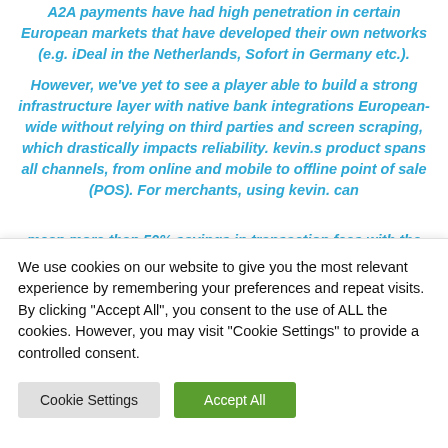A2A payments have had high penetration in certain European markets that have developed their own networks (e.g. iDeal in the Netherlands, Sofort in Germany etc.).
However, we've yet to see a player able to build a strong infrastructure layer with native bank integrations European-wide without relying on third parties and screen scraping, which drastically impacts reliability. kevin.s product spans all channels, from online and mobile to offline point of sale (POS). For merchants, using kevin. can mean more than 50% savings in transaction fees with the
We use cookies on our website to give you the most relevant experience by remembering your preferences and repeat visits. By clicking "Accept All", you consent to the use of ALL the cookies. However, you may visit "Cookie Settings" to provide a controlled consent.